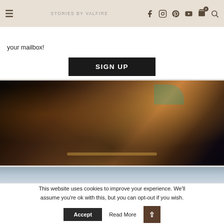≡  STORIES BY VALFIRE  [facebook] [instagram] [pinterest] [youtube] [cart 0] [search]
your mailbox!
SIGN UP
[Figure (photo): Night-time outdoor photo of a 4x4 vehicle with a rooftop tent, illuminated trees with warm golden lights in the background, dark sky]
[Figure (photo): Partially visible photo with a grey/blue sky tone, lower portion of another image]
This website uses cookies to improve your experience. We'll assume you're ok with this, but you can opt-out if you wish.
Accept   Read More   ↑